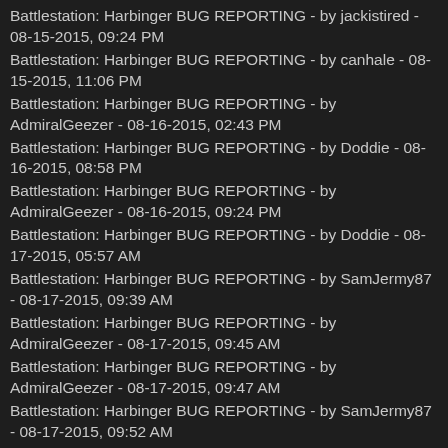Battlestation: Harbinger BUG REPORTING - by jackistired - 08-15-2015, 09:24 PM
Battlestation: Harbinger BUG REPORTING - by canhale - 08-15-2015, 11:06 PM
Battlestation: Harbinger BUG REPORTING - by AdmiralGeezer - 08-16-2015, 02:43 PM
Battlestation: Harbinger BUG REPORTING - by Doddie - 08-16-2015, 08:58 PM
Battlestation: Harbinger BUG REPORTING - by AdmiralGeezer - 08-16-2015, 09:24 PM
Battlestation: Harbinger BUG REPORTING - by Doddie - 08-17-2015, 05:57 AM
Battlestation: Harbinger BUG REPORTING - by SamJermy87 - 08-17-2015, 09:39 AM
Battlestation: Harbinger BUG REPORTING - by AdmiralGeezer - 08-17-2015, 09:45 AM
Battlestation: Harbinger BUG REPORTING - by AdmiralGeezer - 08-17-2015, 09:47 AM
Battlestation: Harbinger BUG REPORTING - by SamJermy87 - 08-17-2015, 09:52 AM
Battlestation: Harbinger BUG REPORTING - by SamJermy87 - 08-17-2015, 10:12 AM
Battlestation: Harbinger BUG REPORTING - by AdmiralGeezer - 08-17-2015, 11:45 AM
Battlestation: Harbinger BUG REPORTING - by DaVydax77 - 08-17-